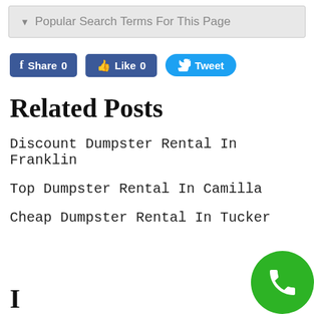Popular Search Terms For This Page
[Figure (other): Social share buttons: Facebook Share 0, Like 0, Tweet]
Related Posts
Discount Dumpster Rental In Franklin
Top Dumpster Rental In Camilla
Cheap Dumpster Rental In Tucker
[Figure (other): Green circular phone call button in bottom right corner]
I... (partial text cut off at bottom)